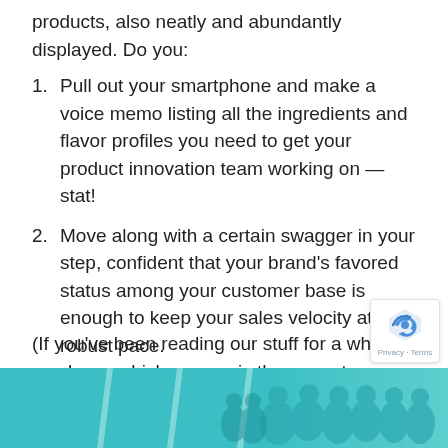products, also neatly and abundantly displayed. Do you:
Pull out your smartphone and make a voice memo listing all the ingredients and flavor profiles you need to get your product innovation team working on — stat!
Move along with a certain swagger in your step, confident that your brand's favored status among your customer base is enough to keep your sales velocity at a robust pace.
(If you've been reading our stuff for a while, you know which answer is the correct one, right?)
[Figure (photo): Teal/cyan banner with runners racing on a track, partially visible at the bottom of the page.]